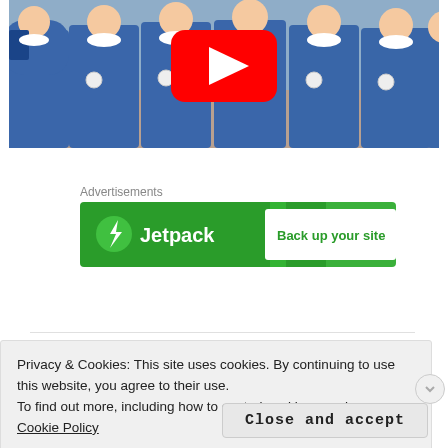[Figure (screenshot): YouTube video thumbnail showing children in blue school smocks/uniforms standing in a row, with a YouTube play button overlay in the center]
Advertisements
[Figure (screenshot): Jetpack advertisement banner with green background. Left side shows Jetpack logo (lightning bolt in circle) and 'Jetpack' text in white. Right side shows white panel with green text 'Back up your site'.]
Privacy & Cookies: This site uses cookies. By continuing to use this website, you agree to their use.
To find out more, including how to control cookies, see here: Cookie Policy
Close and accept